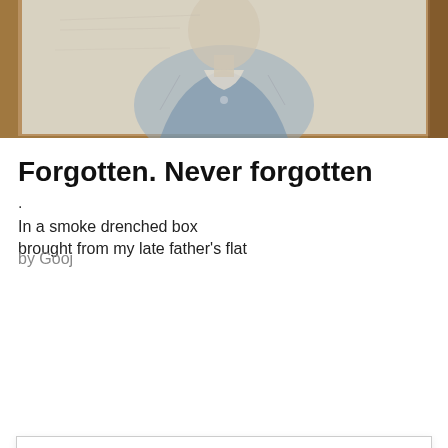[Figure (photo): A pencil or charcoal portrait sketch of a person in a military-style jacket, displayed in a wooden or gilded frame. The upper torso and face are visible. The sketch has a blue-grey tonal quality.]
Forgotten. Never forgotten
.
In a smoke drenched box
brought from my late father's flat
Privacy & Cookies: This site uses cookies. By continuing to use this website, you agree to their use. To find out more, including how to control cookies, see here: Cookie Policy
Close and accept
by Gooj